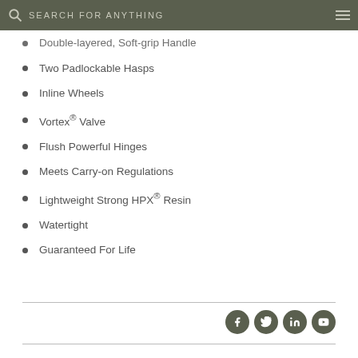SEARCH FOR ANYTHING
Double-layered, Soft-grip Handle
Two Padlockable Hasps
Inline Wheels
Vortex® Valve
Flush Powerful Hinges
Meets Carry-on Regulations
Lightweight Strong HPX® Resin
Watertight
Guaranteed For Life